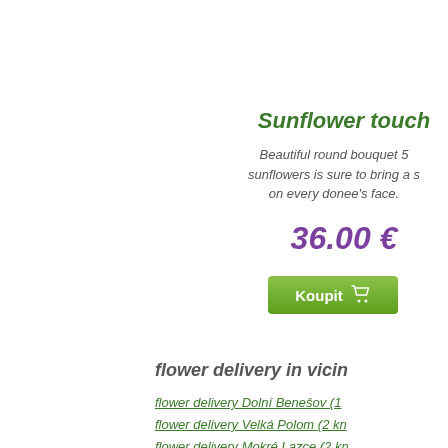Sunflower touch
Beautiful round bouquet 5 sunflowers is sure to bring a s on every donee's face.
36.00 €
Koupit
flower delivery in vicin
flower delivery Dolní Benešov (1
flower delivery Velká Polom (2 kn
flower delivery Mokré Lazce (2 kn
flower delivery Bohuslavice (3 kn